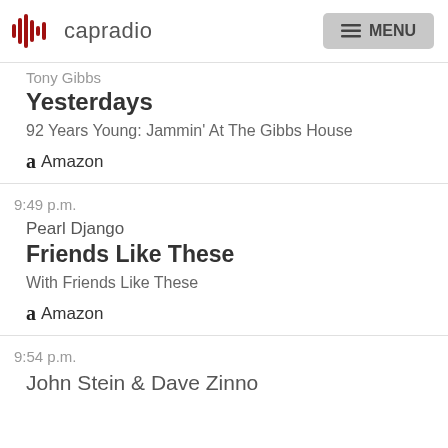capradio MENU
Tony Gibbs
Yesterdays
92 Years Young: Jammin' At The Gibbs House
Amazon
9:49 p.m.
Pearl Django
Friends Like These
With Friends Like These
Amazon
9:54 p.m.
John Stein & Dave Zinno